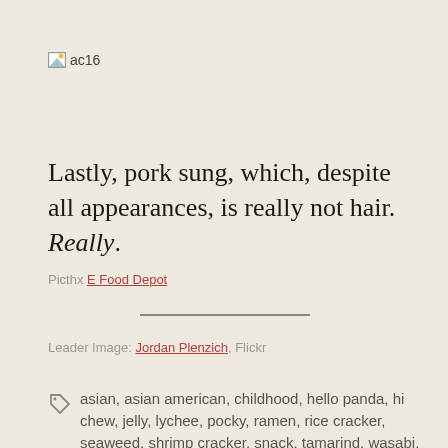[Figure (other): Broken image placeholder icon labeled ac16]
Lastly, pork sung, which, despite all appearances, is really not hair. Really.
Picthx E Food Depot
Leader Image: Jordan Plenzich, Flickr
asian, asian american, childhood, hello panda, hi chew, jelly, lychee, pocky, ramen, rice cracker, seaweed, shrimp cracker, snack, tamarind, wasabi, white rabbit, yakult, yan yan